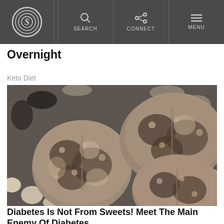S | SEARCH | CONNECT | MENU
Overnight
Keto Diet
[Figure (photo): Close-up photo of Lithops (living stones) succulent plants among pebbles and rocks]
Diabetes Is Not From Sweets! Meet The Main Enemy Of Diabetes
StrictionD
[Figure (photo): Partial image at bottom of page showing hands or figure]